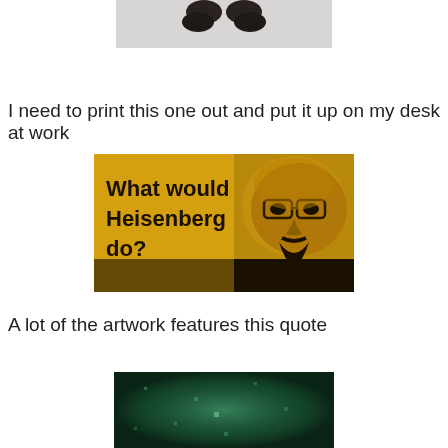[Figure (photo): Partial photo of small dark objects (possibly shoes or figurines) against a light background, cropped at top]
I need to print this one out and put it up on my desk at work
[Figure (illustration): Yellow-toned image of a stern-looking bald man with glasses and goatee (Heisenberg/Walter White from Breaking Bad) with bold black text reading 'What would Heisenberg do?']
A lot of the artwork features this quote
[Figure (photo): Dark teal/green textured background image, partially visible, cropped at bottom]